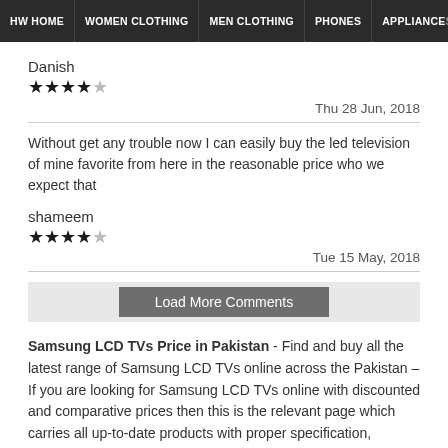HW HOME | WOMEN CLOTHING | MEN CLOTHING | PHONES | APPLIANCES
Danish
★★★★☆
Thu 28 Jun, 2018
Without get any trouble now I can easily buy the led television of mine favorite from here in the reasonable price who we expect that
shameem
★★★★☆
Tue 15 May, 2018
Load More Comments
Samsung LCD TVs Price in Pakistan - Find and buy all the latest range of Samsung LCD TVs online across the Pakistan – If you are looking for Samsung LCD TVs online with discounted and comparative prices then this is the relevant page which carries all up-to-date products with proper specification, consumer rating &